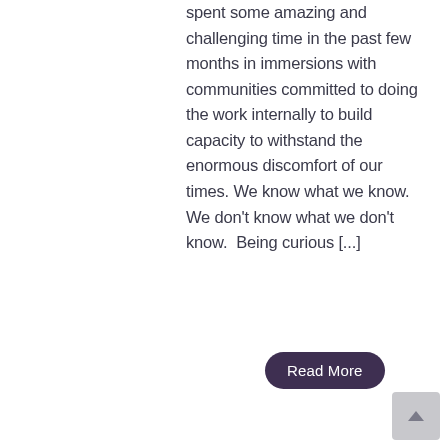spent some amazing and challenging time in the past few months in immersions with communities committed to doing the work internally to build capacity to withstand the enormous discomfort of our times. We know what we know. We don't know what we don't know.  Being curious [...]
Read More